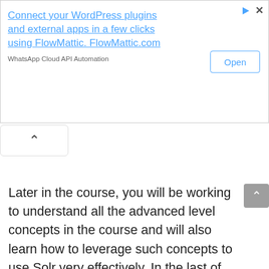[Figure (screenshot): Advertisement banner for FlowMattic WordPress plugin connector. Shows text 'Connect your WordPress plugins and external apps in a few clicks using FlowMattic. FlowMattic.com' with subtitle 'WhatsApp Cloud API Automation' and an 'Open' button on the right.]
Later in the course, you will be working to understand all the advanced level concepts in the course and will also learn how to leverage such concepts to use Solr very effectively. In the last of this unit, you will come across some of the sample questions that are required to master working with this technology.